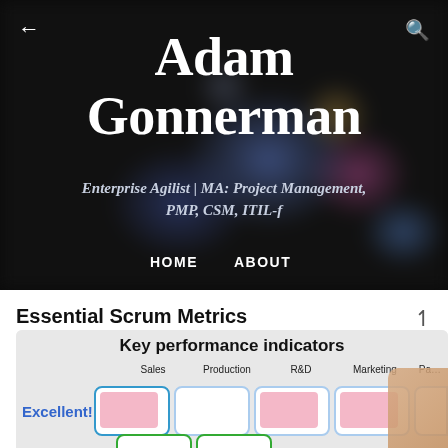Adam Gonnerman
Enterprise Agilist | MA: Project Management, PMP, CSM, ITIL-f
HOME   ABOUT
Essential Scrum Metrics
- August 11, 2020
[Figure (photo): Key performance indicators board showing columns for Sales, Production, R&D, Marketing with sticky notes in rows labeled Excellent!]